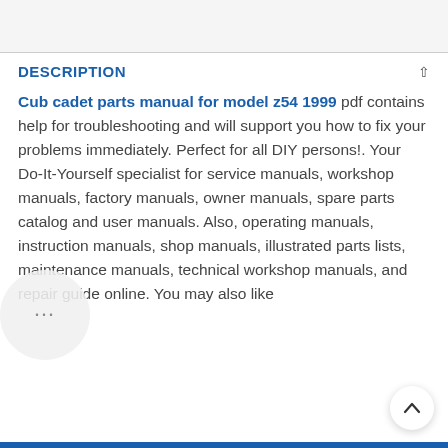DESCRIPTION
Cub cadet parts manual for model z54 1999 pdf contains help for troubleshooting and will support you how to fix your problems immediately. Perfect for all DIY persons!. Your Do-It-Yourself specialist for service manuals, workshop manuals, factory manuals, owner manuals, spare parts catalog and user manuals. Also, operating manuals, instruction manuals, shop manuals, illustrated parts lists, maintenance manuals, technical workshop manuals, and repair guide online. You may also like